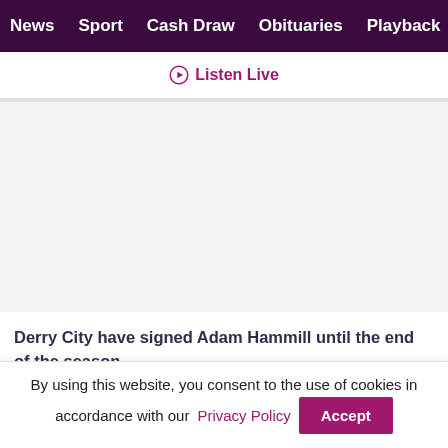News  Sport  Cash Draw  Obituaries  Playback  S
Listen Live
Derry City have signed Adam Hammill until the end of the season.
The Liverpool youth product was most recently on
By using this website, you consent to the use of cookies in accordance with our Privacy Policy  Accept